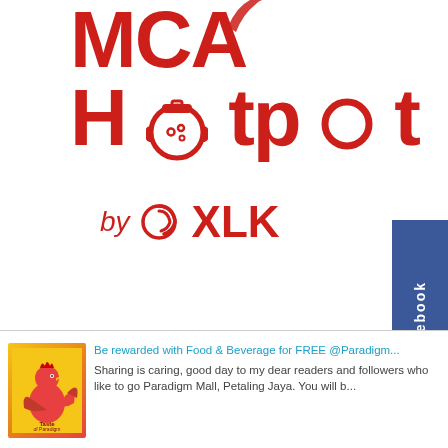[Figure (logo): MCA Hotpot by XLK logo – large red bold text 'MCA Hotpot' with a hotpot icon replacing the 'o' in Hotpot, followed by 'by XLK' with XLK spiral logo, and Facebook tab on right side]
[Figure (photo): Thumbnail image for a blog post – colorful yellow/orange poster with rooster illustration and 'Taste of Paradigm' text]
Be rewarded with Food & Beverage for FREE @Paradigm...
Sharing is caring, good day to my dear readers and followers who like to go Paradigm Mall, Petaling Jaya. You will b...